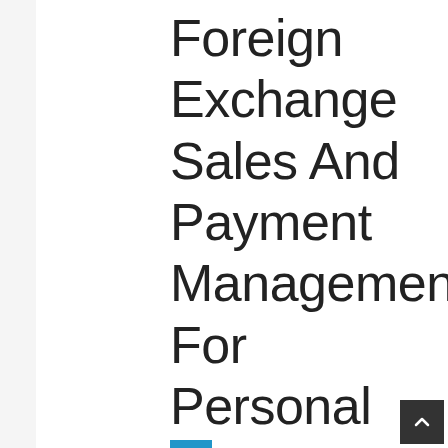Foreign Exchange Sales And Payment Management For Personal Property Transfers!